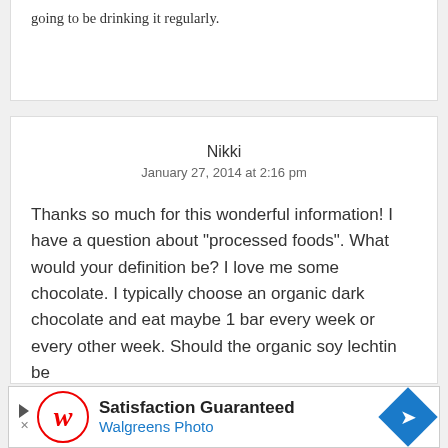going to be drinking it regularly.
Nikki
January 27, 2014 at 2:16 pm
Thanks so much for this wonderful information! I have a question about “processed foods”. What would your definition be? I love me some chocolate. I typically choose an organic dark chocolate and eat maybe 1 bar every week or every other week. Should the organic soy lechtin be
[Figure (other): Walgreens Photo advertisement banner with logo, 'Satisfaction Guaranteed' headline, and blue diamond arrow icon]